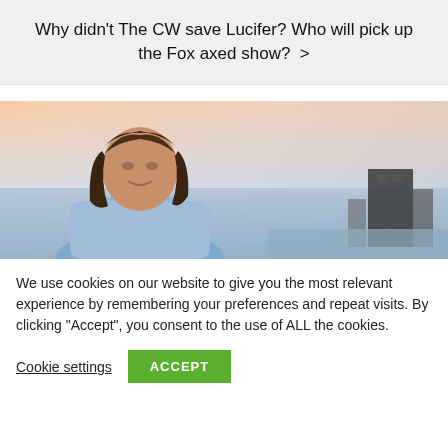Why didn't The CW save Lucifer? Who will pick up the Fox axed show? >
[Figure (photo): A man with shoulder-length dark hair wearing a light blue shirt, photographed outdoors near a waterfront with a city skyline and buildings visible in the background at dusk.]
We use cookies on our website to give you the most relevant experience by remembering your preferences and repeat visits. By clicking “Accept”, you consent to the use of ALL the cookies.
Cookie settings
ACCEPT